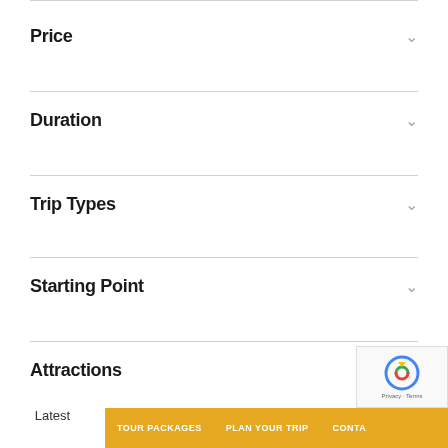Price
Duration
Trip Types
Starting Point
Attractions
TOUR PACKAGES  PLAN YOUR TRIP  CONTA  Latest